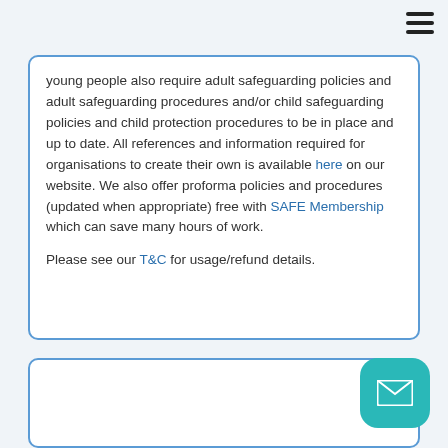young people also require adult safeguarding policies and adult safeguarding procedures and/or child safeguarding policies and child protection procedures to be in place and up to date. All references and information required for organisations to create their own is available here on our website. We also offer proforma policies and procedures (updated when appropriate) free with SAFE Membership which can save many hours of work.

Please see our T&C for usage/refund details.